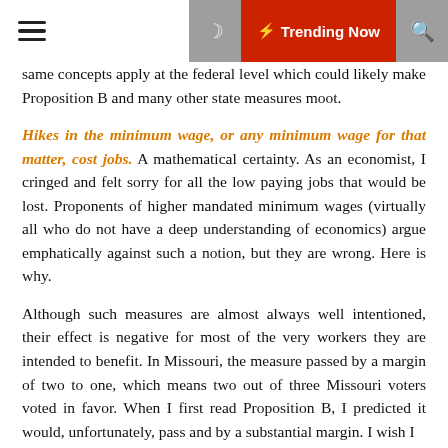☰ 🌙 ⚡ Trending Now 🔍
same concepts apply at the federal level which could likely make Proposition B and many other state measures moot.
Hikes in the minimum wage, or any minimum wage for that matter, cost jobs. A mathematical certainty. As an economist, I cringed and felt sorry for all the low paying jobs that would be lost. Proponents of higher mandated minimum wages (virtually all who do not have a deep understanding of economics) argue emphatically against such a notion, but they are wrong. Here is why.
Although such measures are almost always well intentioned, their effect is negative for most of the very workers they are intended to benefit. In Missouri, the measure passed by a margin of two to one, which means two out of three Missouri voters voted in favor. When I first read Proposition B, I predicted it would, unfortunately, pass and by a substantial margin. I wish I